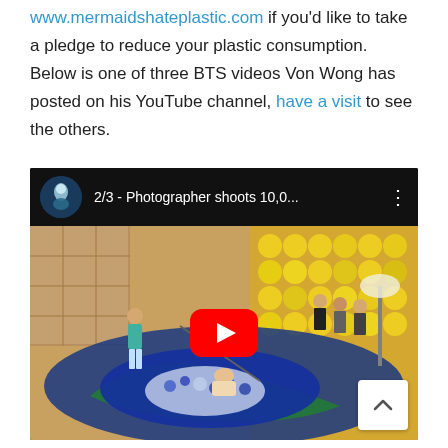www.mermaidshateplastic.com if you'd like to take a pledge to reduce your plastic consumption. Below is one of three BTS videos Von Wong has posted on his YouTube channel, have a visit to see the others.
[Figure (screenshot): YouTube video embed showing '2/3 - Photographer shoots 10,0...' with a thumbnail of a behind-the-scenes photo shoot with plastic bottles arranged in a swirl pattern on the floor, and people working around it. A red YouTube play button is overlaid in the center.]